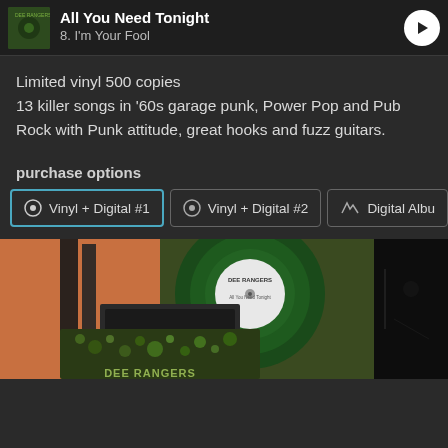All You Need Tonight / 8. I'm Your Fool
Limited vinyl 500 copies
13 killer songs in '60s garage punk, Power Pop and Pub Rock with Punk attitude, great hooks and fuzz guitars.
purchase options
Vinyl + Digital #1 | Vinyl + Digital #2 | Digital Album
[Figure (photo): Photo of Dee Rangers green vinyl record with white label and sleeve, alongside a Dee Rangers album cover with dark/green dotted design]